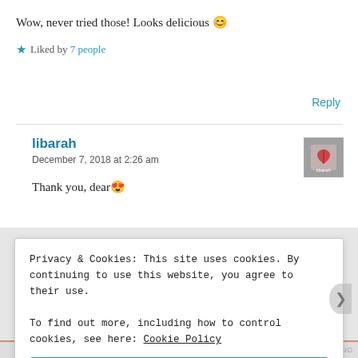Wow, never tried those! Looks delicious 😊
★ Liked by 7 people
Reply
libarah
December 7, 2018 at 2:26 am
[Figure (photo): Small avatar image of user libarah showing a heart graphic]
Thank you, dear 😍
Privacy & Cookies: This site uses cookies. By continuing to use this website, you agree to their use.
To find out more, including how to control cookies, see here: Cookie Policy
Close and accept